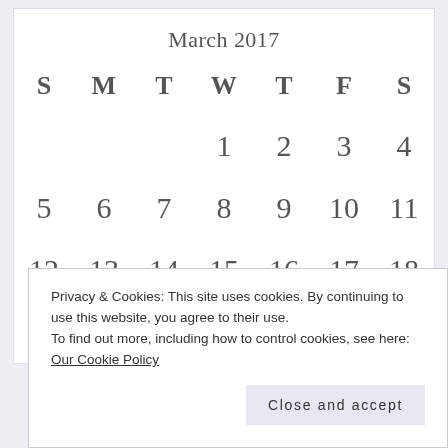March 2017
| S | M | T | W | T | F | S |
| --- | --- | --- | --- | --- | --- | --- |
|  |  |  | 1 | 2 | 3 | 4 |
| 5 | 6 | 7 | 8 | 9 | 10 | 11 |
| 12 | 13 | 14 | 15 | 16 | 17 | 18 |
| 19 | 20 | 21 | 22 | 23 | 24 | 25 |
Privacy & Cookies: This site uses cookies. By continuing to use this website, you agree to their use.
To find out more, including how to control cookies, see here: Our Cookie Policy
Close and accept